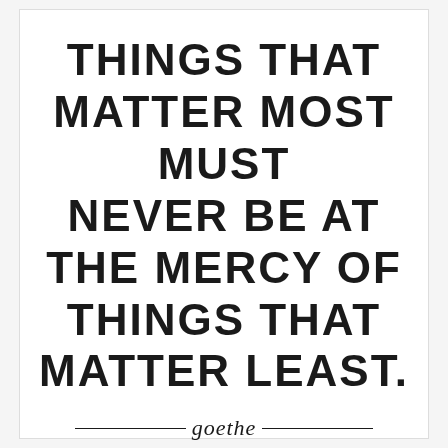Things that matter most must never be at the mercy of things that matter least. — goethe